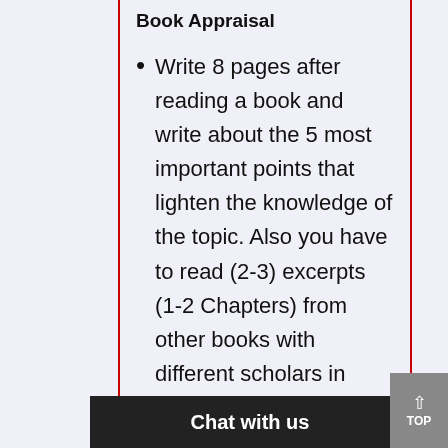Book Appraisal
Write 8 pages after reading a book and write about the 5 most important points that lighten the knowledge of the topic. Also you have to read (2-3) excerpts (1-2 Chapters) from other books with different scholars in order to compare and contrast some of the 5 points that y…